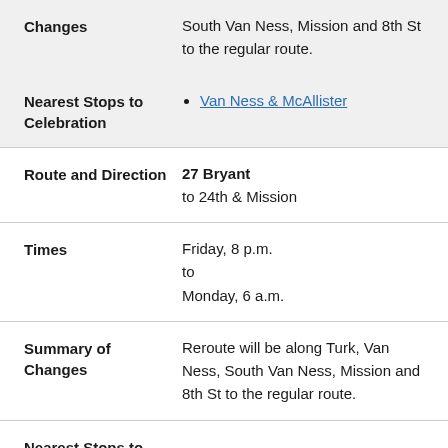| Changes | South Van Ness, Mission and 8th St to the regular route. |
| Nearest Stops to Celebration | Van Ness & McAllister |
| Route and Direction | 27 Bryant
to 24th & Mission |
| Times | Friday, 8 p.m.
to
Monday, 6 a.m. |
| Summary of Changes | Reroute will be along Turk, Van Ness, South Van Ness, Mission and 8th St to the regular route. |
| Nearest Stops to |  |